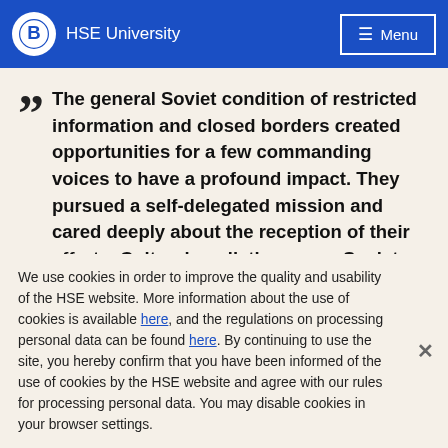HSE University  Menu
The general Soviet condition of restricted information and closed borders created opportunities for a few commanding voices to have a profound impact. They pursued a self-delegated mission and cared deeply about the reception of their efforts. Cultural mediation was a Soviet enlightenment project. Ilya Ehrenburg is perhaps the main character in this group – because he was so paradigmatic as a cultural mediator.
We use cookies in order to improve the quality and usability of the HSE website. More information about the use of cookies is available here, and the regulations on processing personal data can be found here. By continuing to use the site, you hereby confirm that you have been informed of the use of cookies by the HSE website and agree with our rules for processing personal data. You may disable cookies in your browser settings.